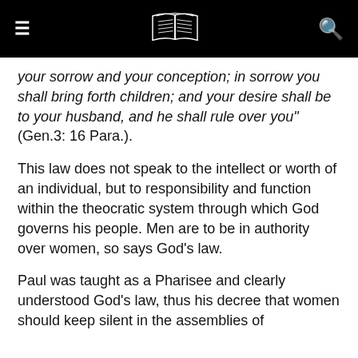≡ [book logo] 🔍
your sorrow and your conception; in sorrow you shall bring forth children; and your desire shall be to your husband, and he shall rule over you" (Gen.3: 16 Para.).
This law does not speak to the intellect or worth of an individual, but to responsibility and function within the theocratic system through which God governs his people. Men are to be in authority over women, so says God's law.
Paul was taught as a Pharisee and clearly understood God's law, thus his decree that women should keep silent in the assemblies of